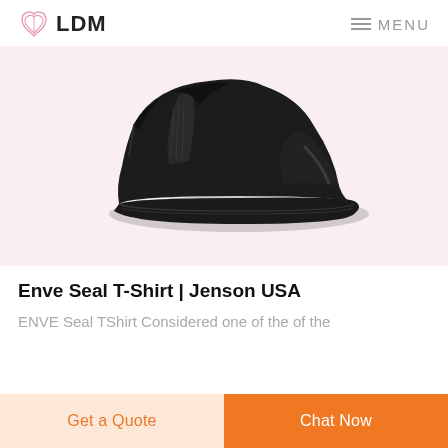LDM   MENU
[Figure (photo): Black slip-on safety shoe/loafer against a light pink/white background]
Enve Seal T-Shirt | Jenson USA
ENVE Seal TShirt Considered one of the of the
Get a Quote   Chat Now